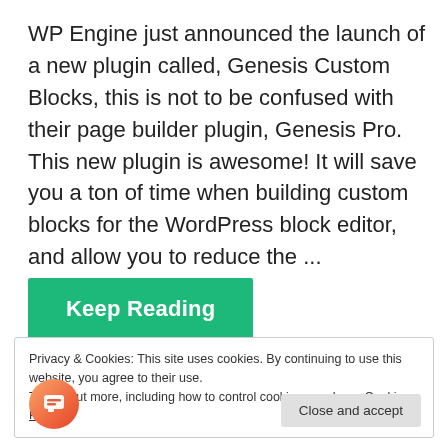WP Engine just announced the launch of a new plugin called, Genesis Custom Blocks, this is not to be confused with their page builder plugin, Genesis Pro. This new plugin is awesome! It will save you a ton of time when building custom blocks for the WordPress block editor, and allow you to reduce the ...
Keep Reading
Privacy & Cookies: This site uses cookies. By continuing to use this website, you agree to their use.
To find out more, including how to control cookies, see here: Cookie Policy
Close and accept